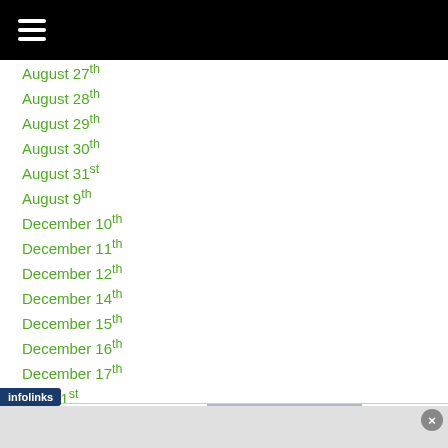≡ (hamburger menu icon)
August 27th
August 28th
August 29th
August 30th
August 31st
August 9th
December 10th
December 11th
December 12th
December 14th
December 15th
December 16th
December 17th
...ber 1st
[Figure (screenshot): Bloomingdale's advertisement banner: logo text 'bloomingdales', tagline 'View Today's Top Deals!', image of woman in wide brim hat, 'SHOP NOW >' button. Infolinks badge at bottom left.]